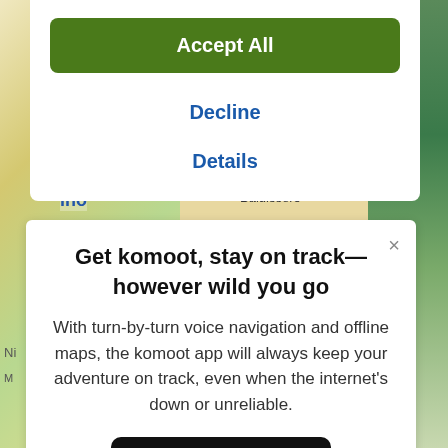[Figure (screenshot): Green 'Accept All' cookie consent button at top of overlay]
Decline
Details
[Figure (map): Map background showing street map with labels including 'ino', 'Baldissero']
Get komoot, stay on track—however wild you go
With turn-by-turn voice navigation and offline maps, the komoot app will always keep your adventure on track, even when the internet's down or unreliable.
[Figure (logo): Download on the App Store button (black rounded rectangle with Apple logo)]
Ann Dissemble